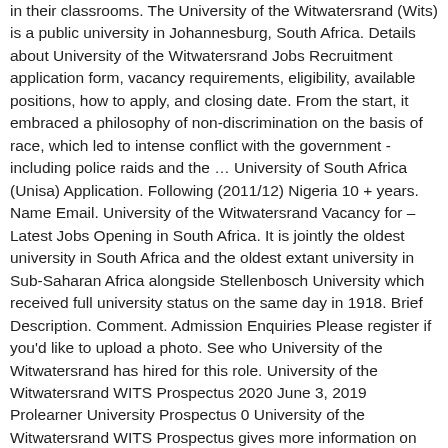in their classrooms. The University of the Witwatersrand (Wits) is a public university in Johannesburg, South Africa. Details about University of the Witwatersrand Jobs Recruitment application form, vacancy requirements, eligibility, available positions, how to apply, and closing date. From the start, it embraced a philosophy of non-discrimination on the basis of race, which led to intense conflict with the government - including police raids and the … University of South Africa (Unisa) Application. Following (2011/12) Nigeria 10 + years. Name Email. University of the Witwatersrand Vacancy for – Latest Jobs Opening in South Africa. It is jointly the oldest university in South Africa and the oldest extant university in Sub-Saharan Africa alongside Stellenbosch University which received full university status on the same day in 1918. Brief Description. Comment. Admission Enquiries Please register if you'd like to upload a photo. See who University of the Witwatersrand has hired for this role. University of the Witwatersrand WITS Prospectus 2020 June 3, 2019 Prolearner University Prospectus 0 University of the Witwatersrand WITS Prospectus gives more information on how to apply, application and closing dates, forms required and many more. Submission by Sele Monkwe This building symbolises education as a key to success and victory. South Africa: University of...